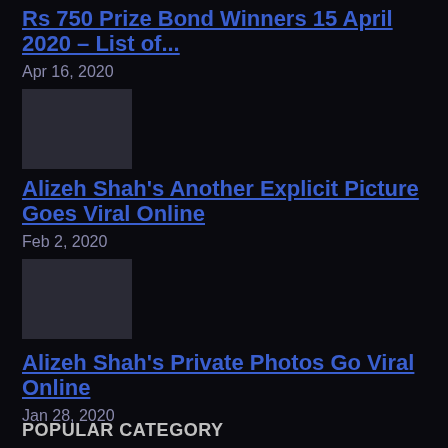Rs 750 Prize Bond Winners 15 April 2020 – List of...
Apr 16, 2020
[Figure (photo): Dark thumbnail image for prize bond article]
Alizeh Shah's Another Explicit Picture Goes Viral Online
Feb 2, 2020
[Figure (photo): Dark thumbnail image for Alizeh Shah explicit picture article]
Alizeh Shah's Private Photos Go Viral Online
Jan 28, 2020
POPULAR CATEGORY